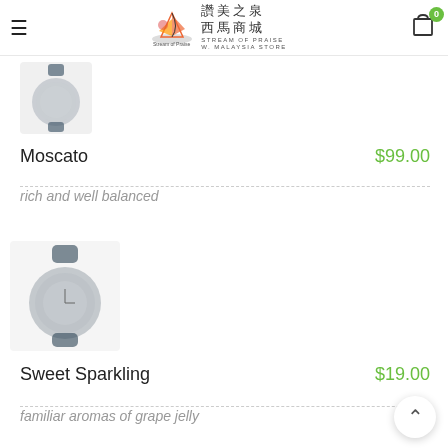讚美之泉 西馬商城 Stream of Praise W. Malaysia Store
[Figure (photo): Blurred product image (watch) for Moscato item]
Moscato
$99.00
rich and well balanced
[Figure (photo): Blurred product image (watch) for Sweet Sparkling item]
Sweet Sparkling
$19.00
familiar aromas of grape jelly